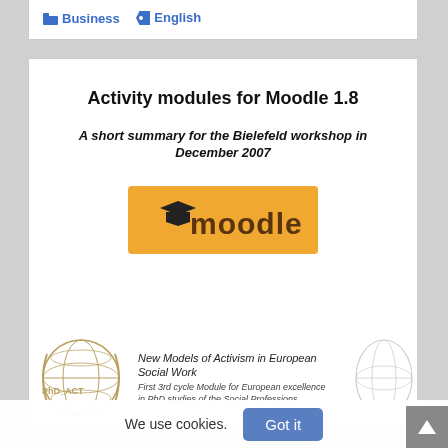Business  English
Activity modules for Moodle 1.8
A short summary for the Bielefeld workshop in December 2007
[Figure (logo): Moodle logo — orange/yellow rectangle with graduation cap and the word 'moodle' in brown letters]
[Figure (logo): PhD ACT logo with globe — 'New Models of Activism in European Social Work. First 3rd cycle Module for European excellence in PhD studies of the Social Professions']
We use cookies.
Got it